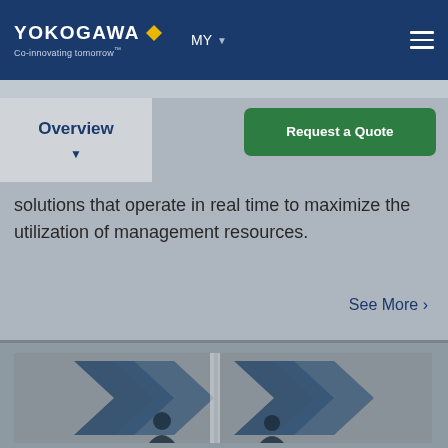YOKOGAWA Co-innovating tomorrow MY
Overview
solutions that operate in real time to maximize the utilization of management resources.
See More >
[Figure (photo): Blue arrow chevron shapes overlaid on a photograph of people in silhouette, representing business/process flow concepts]